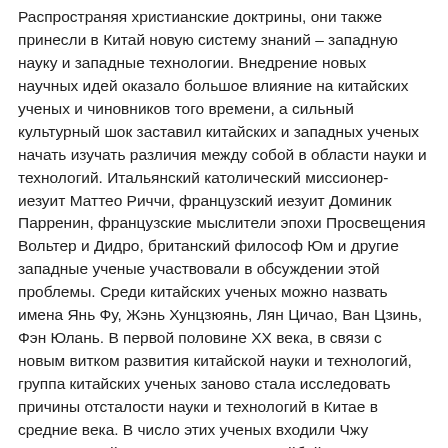Распространяя христианские доктрины, они также принесли в Китай новую систему знаний – западную науку и западные технологии. Внедрение новых научных идей оказало большое влияние на китайских ученых и чиновников того времени, а сильный культурный шок заставил китайских и западных ученых начать изучать различия между собой в области науки и технологий. Итальянский католический миссионер-иезуит Маттео Риччи, французский иезуит Доминик Парренин, французские мыслители эпохи Просвещения Вольтер и Дидро, британский философ Юм и другие западные ученые участвовали в обсуждении этой проблемы. Среди китайских ученых можно назвать имена Янь Фу, Жэнь Хунцзюянь, Лян Цичао, Ван Цзинь, Фэн Юлань. В первой половине XX века, в связи с новым витком развития китайской науки и технологий, группа китайских ученых заново стала исследовать причины отсталости науки и технологий в Китае в средние века. В число этих ученых входили Чжу Кечжэнь, Сюй Мо, Тан Цзюньи, Ху Вэйбай и др. В 1930-х годах немецкий исследователь К.А. Виттфогель написал книгу «Экономика и общество Китая», в которой также рассматривал данную проблему. Дискуссия достигла